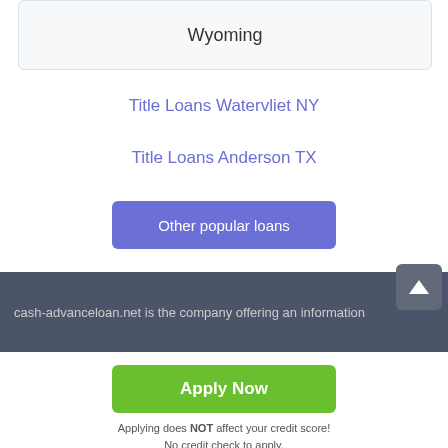Wyoming
Title Loans Watervliet NY
Title Loans Anderson TX
Other popular loans
cash-advanceloan.net is the company offering an information
Apply Now
Applying does NOT affect your credit score! No credit check to apply.